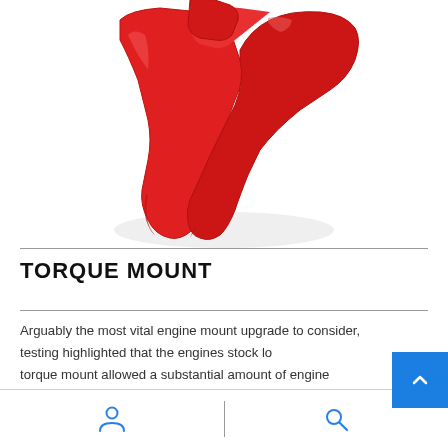[Figure (photo): Close-up photo of a red painted metal torque mount component on a white background]
TORQUE MOUNT
Arguably the most vital engine mount upgrade to consider, testing highlighted that the engines stock low torque mount allowed a substantial amount of engine